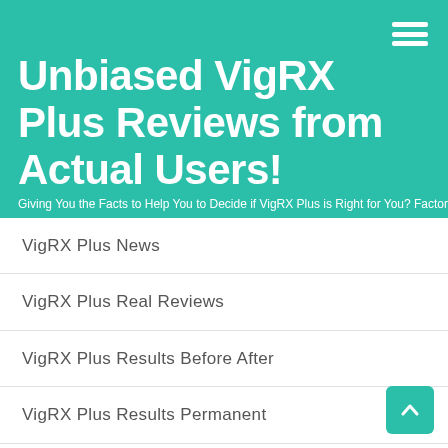Unbiased VigRX Plus Reviews from Actual Users!
Giving You the Facts to Help You to Decide if VigRX Plus is Right for You? Factors to Help You to Decide if VigRX Plus is
VigRX Plus News
VigRX Plus Real Reviews
VigRX Plus Results Before After
VigRX Plus Results Permanent
VigRX Plus Results Time
VigRX Plus Reviews Uk